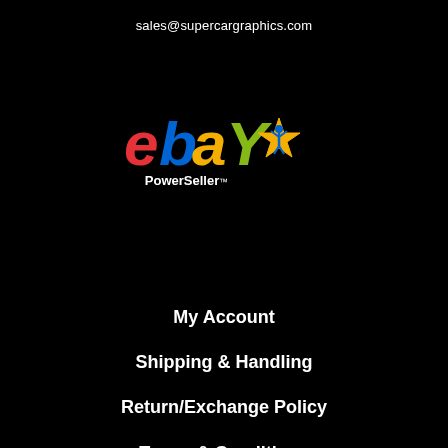sales@supercargraphics.com
[Figure (logo): eBay PowerSeller logo with colorful eBay lettering and PowerSeller star figure badge]
My Account
Shipping & Handling
Return/Exchange Policy
Terms & Conditions
Privacy Policy